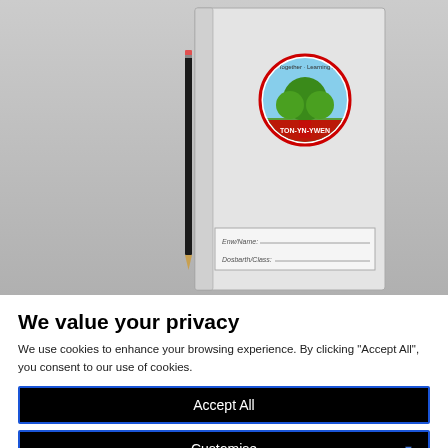[Figure (photo): School exercise book / notebook with Ton-Yr-Ywen school logo (tree inside red circle with Welsh text), a pencil leaning against it, name and class fields at the bottom. Background is grey.]
We value your privacy
We use cookies to enhance your browsing experience. By clicking "Accept All", you consent to our use of cookies.
Accept All
Customise